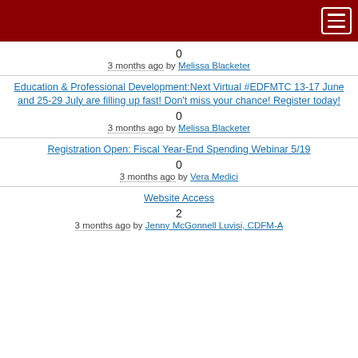0
3 months ago by Melissa Blacketer
Education & Professional Development:Next Virtual #EDFMTC 13-17 June and 25-29 July are filling up fast! Don't miss your chance! Register today!
0
3 months ago by Melissa Blacketer
Registration Open: Fiscal Year-End Spending Webinar 5/19
0
3 months ago by Vera Medici
Website Access
2
3 months ago by Jenny McGonnell Luvisi, CDFM-A